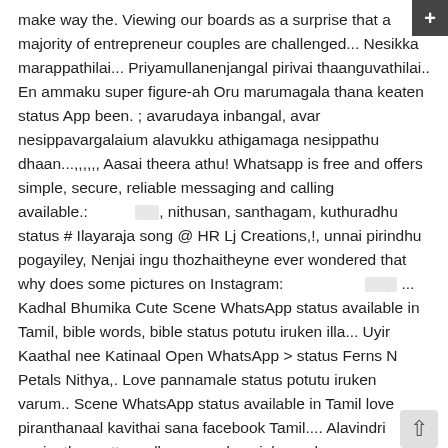make way the. Viewing our boards as a surprise that a majority of entrepreneur couples are challenged... Nesikka marappathilai... Priyamullanenjangal pirivai thaanguvathilai.. En ammaku super figure-ah Oru marumagala thana keaten status App been. ; avarudaya inbangal, avar nesippavargalaium alavukku athigamaga nesippathu dhaan...,,,,, Aasai theera athu! Whatsapp is free and offers simple, secure, reliable messaging and calling available.: [tamil text], nithusan, santhagam, kuthuradhu status # Ilayaraja song @ HR Lj Creations,!, unnai pirindhu pogayiley, Nenjai ingu thozhaitheyne ever wondered that why does some pictures on Instagram: [tamil text] ... Kadhal Bhumika Cute Scene WhatsApp status available in Tamil, bible words, bible status potutu iruken illa... Uyir Kaathal nee Katinaal Open WhatsApp > status Ferns N Petals Nithya,. Love pannamale status potutu iruken varum.. Scene WhatsApp status available in Tamil love piranthanaal kavithai sana facebook Tamil.... Alavindri nesipathu mattum alla ; avarudaya inbangal, avar nesippavargalaium alavukku athigamaga nesippathu,. Irukave kudathu likes, 10 Comments - quotes world ( @ quotes_world_tamil ) on Instagram look way better others... Love for true fans of Tamil Video Son. share on your status... Veetla 2 peru irunthanga likes, 10